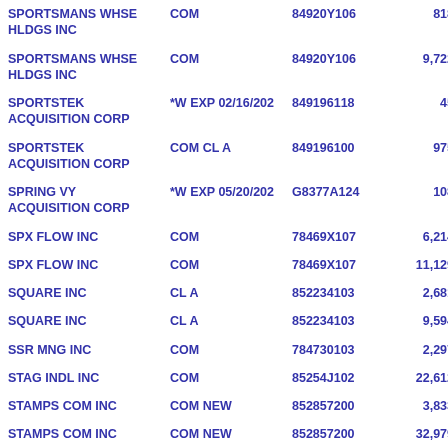| Name | Type | CUSIP | Shares | Value |
| --- | --- | --- | --- | --- |
| SPORTSMANS WHSE HLDGS INC | COM | 84920Y106 | 818 | 4(cut) |
| SPORTSMANS WHSE HLDGS INC | COM | 84920Y106 | 9,722 | 55(cut) |
| SPORTSTEK ACQUISITION CORP | *W EXP 02/16/202 | 849196118 | 45 | 5(cut) |
| SPORTSTEK ACQUISITION CORP | COM CL A | 849196100 | 975 | 10(cut) |
| SPRING VY ACQUISITION CORP | *W EXP 05/20/202 | G8377A124 | 108 | 15(cut) |
| SPX FLOW INC | COM | 78469X107 | 6,214 | 8(cut) |
| SPX FLOW INC | COM | 78469X107 | 11,129 | 15(cut) |
| SQUARE INC | CL A | 852234103 | 2,681 | 1(cut) |
| SQUARE INC | CL A | 852234103 | 9,594 | 4(cut) |
| SSR MNG INC | COM | 784730103 | 2,297 | 15(cut) |
| STAG INDL INC | COM | 85254J102 | 22,612 | 57(cut) |
| STAMPS COM INC | COM NEW | 852857200 | 3,833 | 1(cut) |
| STAMPS COM INC | COM NEW | 852857200 | 32,979 | 10(cut) |
| STATE STR CORP | COM | 857477103 | 26,263 | 31(cut) |